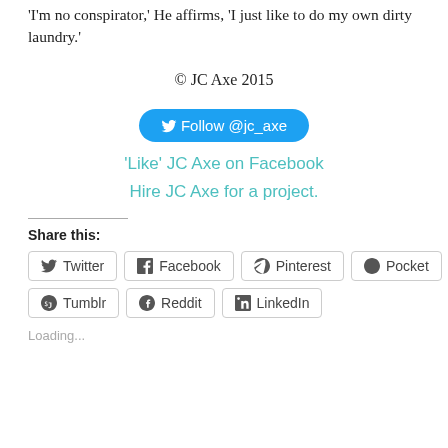'I'm no conspirator,' He affirms, 'I just like to do my own dirty laundry.'
© JC Axe 2015
Follow @jc_axe
'Like' JC Axe on Facebook
Hire JC Axe for a project.
Share this:
Twitter
Facebook
Pinterest
Pocket
Tumblr
Reddit
LinkedIn
Loading...